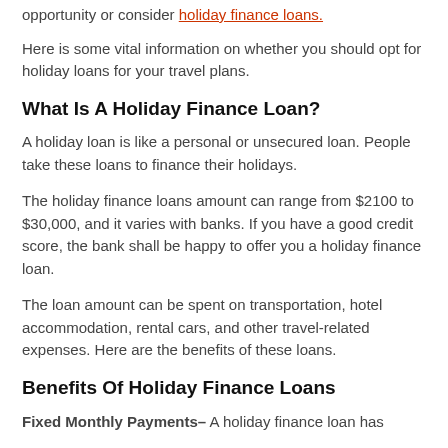opportunity or consider holiday finance loans.
Here is some vital information on whether you should opt for holiday loans for your travel plans.
What Is A Holiday Finance Loan?
A holiday loan is like a personal or unsecured loan. People take these loans to finance their holidays.
The holiday finance loans amount can range from $2100 to $30,000, and it varies with banks. If you have a good credit score, the bank shall be happy to offer you a holiday finance loan.
The loan amount can be spent on transportation, hotel accommodation, rental cars, and other travel-related expenses. Here are the benefits of these loans.
Benefits Of Holiday Finance Loans
Fixed Monthly Payments– A holiday finance loan has